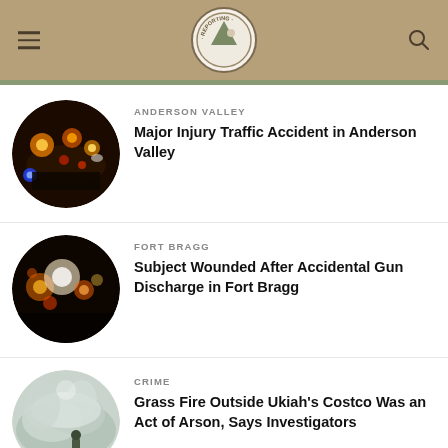MendoFever Reporting
ANDERSON VALLEY
Major Injury Traffic Accident in Anderson Valley
FORT BRAGG
Subject Wounded After Accidental Gun Discharge in Fort Bragg
CRIME
Grass Fire Outside Ukiah's Costco Was an Act of Arson, Says Investigators